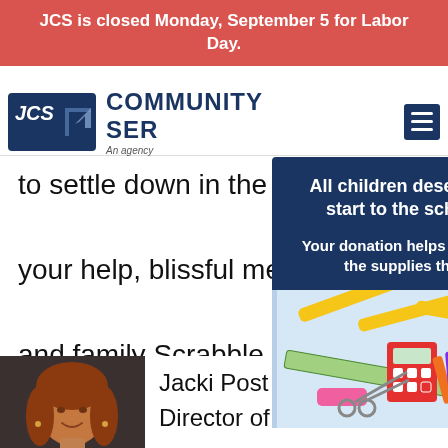JCS is closed Monday, September 5 for Labor Day.
[Figure (screenshot): JCS (Jewish Community Services) website header with logo, site title 'COMMUNITY SER...', tagline 'An agency...', and hamburger menu icon]
to settle down in the
your help, blissful me
and family Scrabble g
alive in their hearts.
[Figure (other): Popup overlay with dark blue background. Text: 'All children deserve a good start to the school year.' and 'Your donation helps families afford the supplies they need.' with an image of school supplies (pencils, rulers, calculator, notebook, crayons, scissors).]
[Figure (photo): Photo of a woman with reddish-brown hair, smiling, wearing earrings, against a dark background.]
Jacki Post Ashkin is Director of Community Connections a